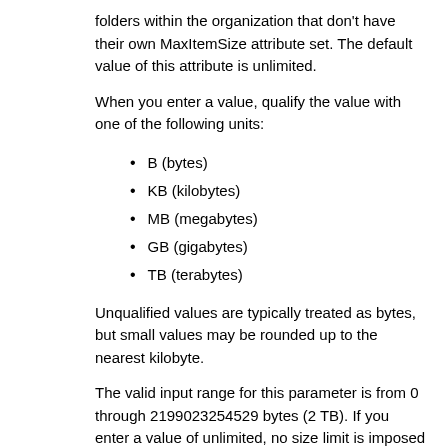folders within the organization that don't have their own MaxItemSize attribute set. The default value of this attribute is unlimited.
When you enter a value, qualify the value with one of the following units:
B (bytes)
KB (kilobytes)
MB (megabytes)
GB (gigabytes)
TB (terabytes)
Unqualified values are typically treated as bytes, but small values may be rounded up to the nearest kilobyte.
The valid input range for this parameter is from 0 through 2199023254529 bytes (2 TB). If you enter a value of unlimited, no size limit is imposed on the public